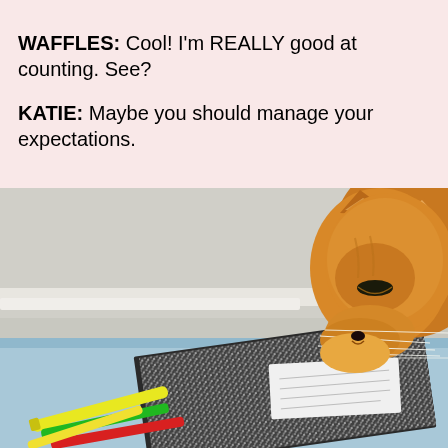WAFFLES: Cool! I'm REALLY good at counting. See?
KATIE: Maybe you should manage your expectations.
[Figure (photo): A ginger/orange cat leaning down sniffing or biting a black and white marble composition notebook on a light blue surface, with colorful markers/pens (yellow, red, green) visible in the lower left corner.]